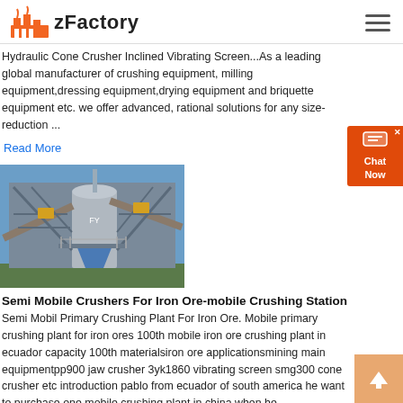zFactory
Hydraulic Cone Crusher Inclined Vibrating Screen...As a leading global manufacturer of crushing equipment, milling equipment,dressing equipment,drying equipment and briquette equipment etc. we offer advanced, rational solutions for any size-reduction ...
Read More
[Figure (photo): Industrial semi-mobile crushing plant with large cylindrical equipment, conveyor belts, and metal framework structures against a blue sky]
Semi Mobile Crushers For Iron Ore-mobile Crushing Station
Semi Mobil Primary Crushing Plant For Iron Ore. Mobile primary crushing plant for iron ores 100th mobile iron ore crushing plant in ecuador capacity 100th materialsiron ore applicationsmining main equipmentpp900 jaw crusher 3yk1860 vibrating screen smg300 cone crusher etc introduction pablo from ecuador of south america he want to purchase one mobile crushing plant in china when he